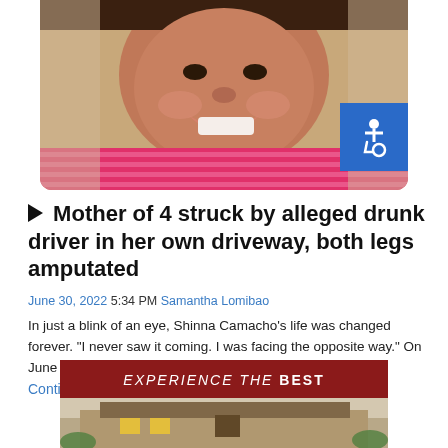[Figure (photo): Photo of a smiling woman in a pink striped shirt, cropped to show face and upper body]
Mother of 4 struck by alleged drunk driver in her own driveway, both legs amputated
June 30, 2022 5:34 PM Samantha Lomibao
In just a blink of an eye, Shinna Camacho’s life was changed forever. “I never saw it coming. I was facing the opposite way.” On June 18th,…
Continue Reading
[Figure (photo): Advertisement banner with red header reading EXPERIENCE THE BEST and photo of a restaurant building]